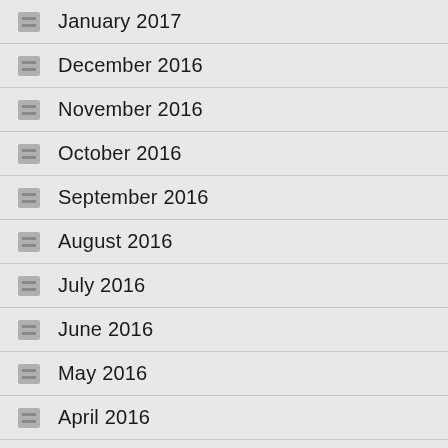January 2017
December 2016
November 2016
October 2016
September 2016
August 2016
July 2016
June 2016
May 2016
April 2016